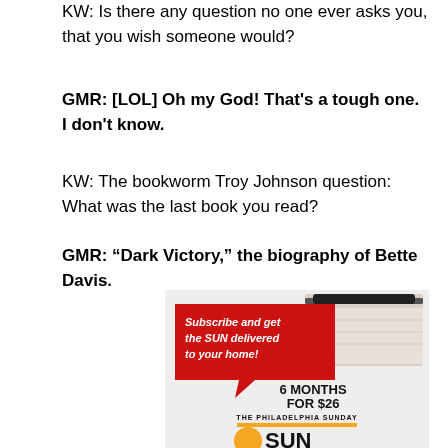KW: Is there any question no one ever asks you, that you wish someone would?
GMR: [LOL] Oh my God! That's a tough one. I don't know.
KW: The bookworm Troy Johnson question: What was the last book you read?
GMR: “Dark Victory,” the biography of Bette Davis.
[Figure (advertisement): Philadelphia Sunday SUN newspaper subscription advertisement. Red speech bubble with text 'Subscribe and get the SUN delivered to your home!' alongside a rolled/folded newspaper image. Large text '6 MONTHS FOR $26'. Bottom shows 'THE PHILADELPHIA SUNDAY' with orange bar and large 'SUN' logo with orange sun graphic.]